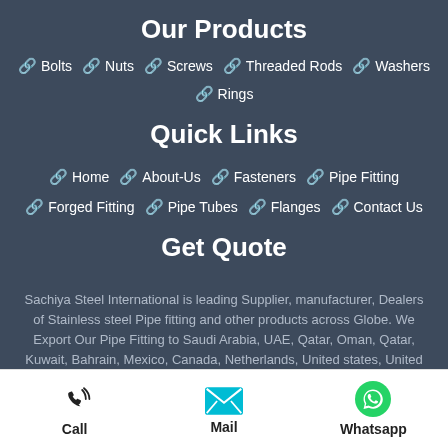Our Products
Bolts
Nuts
Screws
Threaded Rods
Washers
Rings
Quick Links
Home
About-Us
Fasteners
Pipe Fitting
Forged Fitting
Pipe Tubes
Flanges
Contact Us
Get Quote
Sachiya Steel International is leading Supplier, manufacturer, Dealers of Stainless steel Pipe fitting and other products across Globe. We Export Our Pipe Fitting to Saudi Arabia, UAE, Qatar, Oman, Qatar, Kuwait, Bahrain, Mexico, Canada, Netherlands, United states, United Kingdom, Nigeria, Malaysia, Singapore, Australia, New zealand, Sri Lanka, Bangladesh,
Call | Mail | Whatsapp